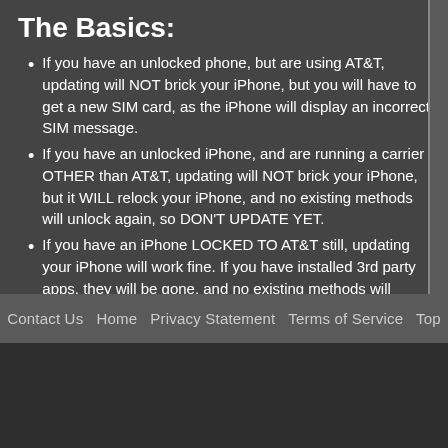The Basics:
If you have an unlocked phone, but are using AT&T, updating will NOT brick your iPhone, but you will have to get a new SIM card, as the iPhone will display an incorrect SIM message.
If you have an unlocked iPhone, and are running a carrier OTHER than AT&T, updating will NOT brick your iPhone, but it WILL relock your iPhone, and no existing methods will unlock again, so DON'T UPDATE YET.
If you have an iPhone LOCKED TO AT&T still, updating your iPhone will work fine. If you have installed 3rd party apps, they will be gone, and no existing methods will reinstall them.
No, the developers of the software modding apps have NOT updated their apps within the past 2 hours. When they do you will be notified with a new News story.
Contact Us  Home  Privacy Statement  Terms of Service  Top